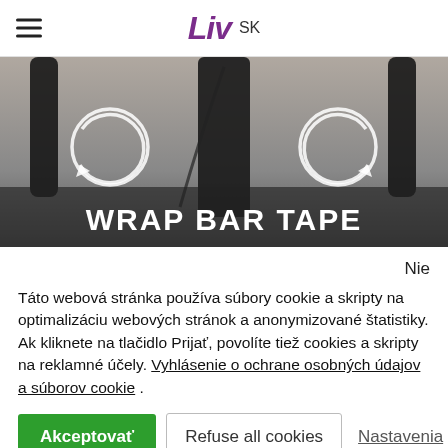Liv SK
[Figure (photo): Close-up photo of bicycle handlebars with white circular arrow icons on left and right, and 'WRAP BAR TAPE' text overlay at the bottom]
Nie
Táto webová stránka používa súbory cookie a skripty na optimalizáciu webových stránok a anonymizované štatistiky. Ak kliknete na tlačidlo Prijať, povolíte tiež cookies a skripty na reklamné účely. Vyhlásenie o ochrane osobných údajov a súborov cookie .
Akceptovať | Refuse all cookies | Nastavenia